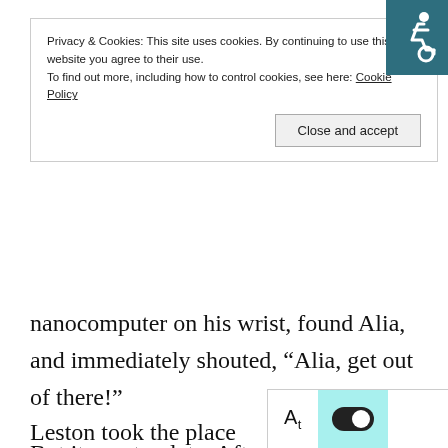[Figure (other): Accessibility icon in teal/dark teal background, top-right corner]
Privacy & Cookies: This site uses cookies. By continuing to use this website you agree to their use.
To find out more, including how to control cookies, see here: Cookie Policy
Close and accept
nanocomputer on his wrist, found Alia, and immediately shouted, “Alia, get out of there!”
But it was too late. After yelling out the words, the screen on Lydney’s hand was completely black only when it caught a pair of dark green vertical pupils – Red Shield had at least been attacked by that thing.
“What is that…” Lydney held the screen, staring.
Leston took the place of XiaXia and said to the